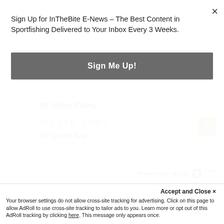Sign Up for InTheBite E-News – The Best Content in Sportfishing Delivered to Your Inbox Every 3 Weeks.
Sign Me Up!
×
66' Hines-Farley
WASTE KNOT
0
67' jarrett bay
Powered by REEL TIME APPS
CAPTAIN OF THE YEAR CUP STANDINGS
Accept and Close ×
Your browser settings do not allow cross-site tracking for advertising. Click on this page to allow AdRoll to use cross-site tracking to tailor ads to you. Learn more or opt out of this AdRoll tracking by clicking here. This message only appears once.